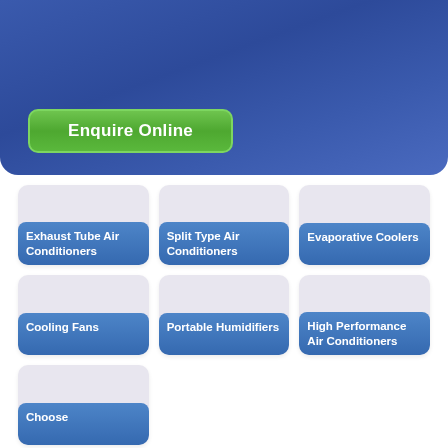[Figure (screenshot): Blue gradient hero banner with Enquire Online green button]
Exhaust Tube Air Conditioners
Split Type Air Conditioners
Evaporative Coolers
Cooling Fans
Portable Humidifiers
High Performance Air Conditioners
Choose